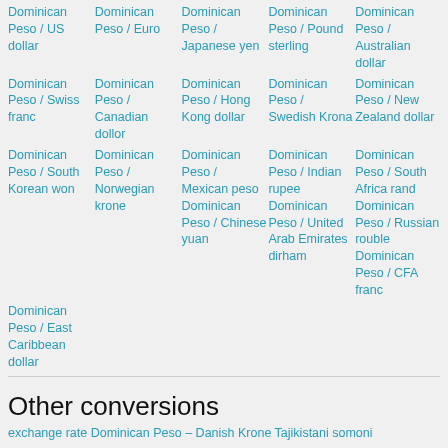Dominican Peso / US dollar
Dominican Peso / Euro
Dominican Peso / Japanese yen
Dominican Peso / Pound sterling
Dominican Peso / Australian dollar
Dominican Peso / Swiss franc
Dominican Peso / Canadian dollor
Dominican Peso / Hong Kong dollar
Dominican Peso / Swedish Krona
Dominican Peso / New Zealand dollar
Dominican Peso / South Korean won
Dominican Peso / Norwegian krone
Dominican Peso / Mexican peso
Dominican Peso / Indian rupee
Dominican Peso / South Africa rand
Dominican Peso / Chinese yuan
Dominican Peso / United Arab Emirates dirham
Dominican Peso / Russian rouble
Dominican Peso / CFA franc
Dominican Peso / East Caribbean dollar
Other conversions
exchange rate Dominican Peso – Danish Krone Tajikistani somoni